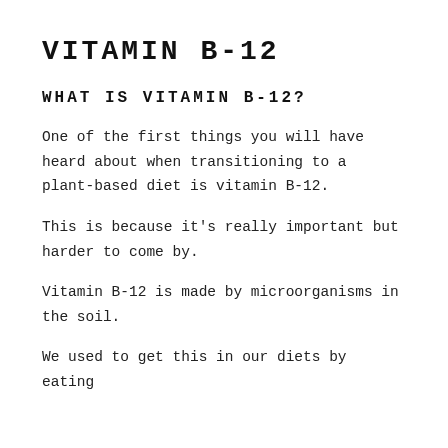VITAMIN B-12
WHAT IS VITAMIN B-12?
One of the first things you will have heard about when transitioning to a plant-based diet is vitamin B-12.
This is because it's really important but harder to come by.
Vitamin B-12 is made by microorganisms in the soil.
We used to get this in our diets by eating